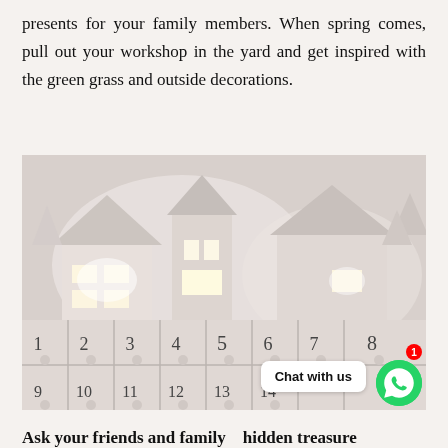presents for your family members. When spring comes, pull out your workshop in the yard and get inspired with the green grass and outside decorations.
[Figure (photo): A white paper-craft advent calendar scene featuring miniature illuminated houses and numbered drawers (1-14 visible), with a soft glowing winter village aesthetic.]
Ask your friends and family    hidden treasure